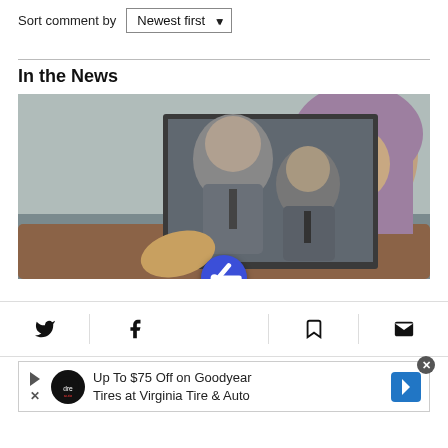Sort comment by  Newest first ▼
In the News
[Figure (photo): A woman wearing a hijab holds up a photograph showing two men in suits seated together.]
[Figure (screenshot): Social sharing action bar with Twitter, Facebook, bookmark, email icons and a central blue circular Newsweek/news icon button.]
[Figure (screenshot): Advertisement: Up To $75 Off on Goodyear Tires at Virginia Tire & Auto with Dré auto logo and blue arrow icon. Close (x) button top right.]